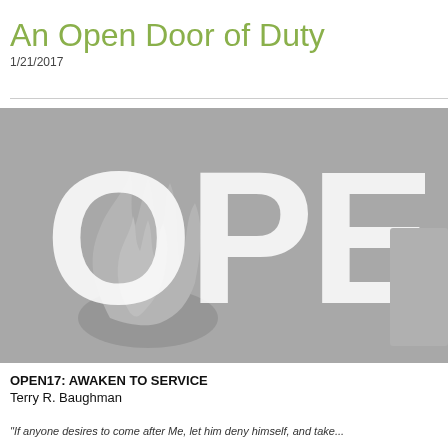An Open Door of Duty
1/21/2017
[Figure (logo): Grey banner with large white letters 'OPE' (partially visible) and a stylized grey flame/torch logo on the left side on a grey background.]
OPEN17: AWAKEN TO SERVICE
Terry R. Baughman
"If anyone desires to come after Me, let him deny himself, and take...